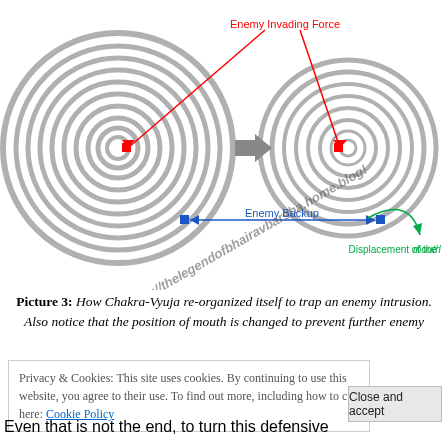[Figure (illustration): Two circular labyrinth/spiral diagrams representing Chakra-Vyuja formation. Left spiral is larger and denser, right spiral is smaller. Red arrows labeled 'Enemy Invading Force' point from top center down into both spirals. A grey arrow points right between the spirals. A blue double-headed arrow labeled 'Enemy Backup' spans the bottom. A green curved arrow labeled 'Displacement of the mouth' appears at lower right. A watermark URL 'https://thelegendofbhairavbarsha.home.blog!' is written diagonally across the image.]
Picture 3: How Chakra-Vyuja re-organized itself to trap an enemy intrusion. Also notice that the position of mouth is changed to prevent further enemy
Privacy & Cookies: This site uses cookies. By continuing to use this website, you agree to their use. To find out more, including how to c here: Cookie Policy
Even that is not the end, to turn this defensive